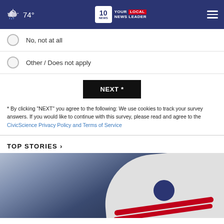NEWS 10 YOUR LOCAL NEWS LEADER | 74°
No, not at all
Other / Does not apply
NEXT *
* By clicking "NEXT" you agree to the following: We use cookies to track your survey answers. If you would like to continue with this survey, please read and agree to the CivicScience Privacy Policy and Terms of Service
TOP STORIES ›
[Figure (photo): Close-up photo of a baseball helmet with white, red, and blue colors against a dark blue background]